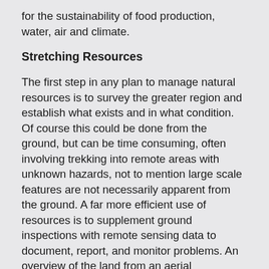for the sustainability of food production, water, air and climate.
Stretching Resources
The first step in any plan to manage natural resources is to survey the greater region and establish what exists and in what condition. Of course this could be done from the ground, but can be time consuming, often involving trekking into remote areas with unknown hazards, not to mention large scale features are not necessarily apparent from the ground. A far more efficient use of resources is to supplement ground inspections with remote sensing data to document, report, and monitor problems. An overview of the land from an aerial perspective makes it simple to classify the land use cover. Multispectral (Infrared) and multitemporal series of imagery allows environmental scientists to assess plant health and quantify changes over time, respectively. Satellite imagery captured on demand